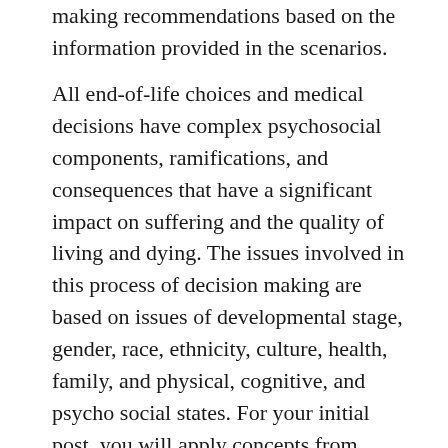making recommendations based on the information provided in the scenarios.
All end-of-life choices and medical decisions have complex psychosocial components, ramifications, and consequences that have a significant impact on suffering and the quality of living and dying. The issues involved in this process of decision making are based on issues of developmental stage, gender, race, ethnicity, culture, health, family, and physical, cognitive, and psycho social states. For your initial post, you will apply concepts from developmental psychology to create your recommended courses of action for both Roger and Geri. Carefully review the PSY605 End-of-Life Case Scenarios document and then research at least